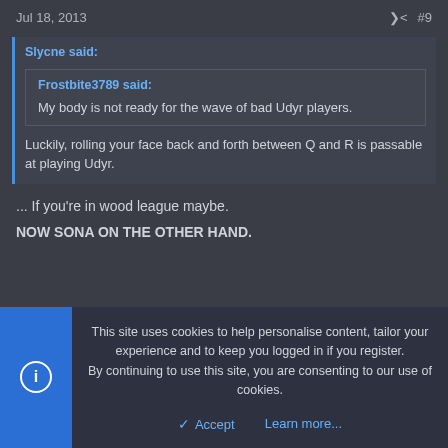Jul 18, 2013   #9
Slycne said:

Frostbite3789 said:

My body is not ready for the wave of bad Udyr players.

Luckily, rolling your face back and forth between Q and R is passable at playing Udyr.
... If you're in wood league maybe.
NOW SONA ON THE OTHER HAND.
This site uses cookies to help personalise content, tailor your experience and to keep you logged in if you register.
By continuing to use this site, you are consenting to our use of cookies.
Accept   Learn more...